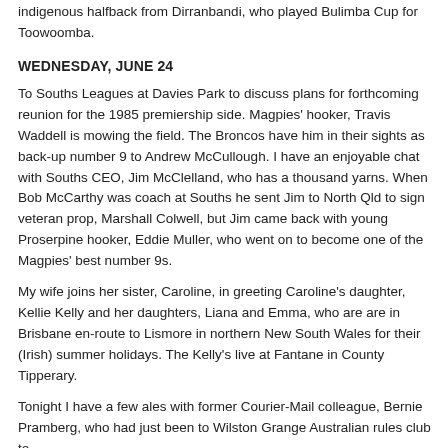indigenous halfback from Dirranbandi, who played Bulimba Cup for Toowoomba.
WEDNESDAY, JUNE 24
To Souths Leagues at Davies Park to discuss plans for forthcoming reunion for the 1985 premiership side. Magpies' hooker, Travis Waddell is mowing the field. The Broncos have him in their sights as back-up number 9 to Andrew McCullough. I have an enjoyable chat with Souths CEO, Jim McClelland, who has a thousand yarns. When Bob McCarthy was coach at Souths he sent Jim to North Qld to sign veteran prop, Marshall Colwell, but Jim came back with young Proserpine hooker, Eddie Muller, who went on to become one of the Magpies' best number 9s.
My wife joins her sister, Caroline, in greeting Caroline's daughter, Kellie Kelly and her daughters, Liana and Emma, who are are in Brisbane en-route to Lismore in northern New South Wales for their (Irish) summer holidays. The Kelly's live at Fantane in County Tipperary.
Tonight I have a few ales with former Courier-Mail colleague, Bernie Pramberg, who had just been to Wilston Grange Australian rules club to